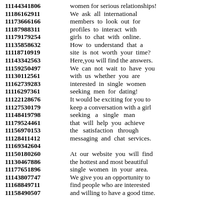11144341806 women for serious relationships! 11186162911 We ask all international 11173666166 members to look out for 11187988311 profiles to interact with 11179179254 girls to chat with online. 11135858632 How to understand that a 11118710919 site is not worth your time? 11143342563 Here,you will find the answers. 11159250497 We can not wait to have you 11130112561 with us whether you are 11162739283 interested in single women 11116297361 seeking men for dating! 11122128676 It would be exciting for you to 11127530179 keep a conversation with a girl 11148419798 seeking a single man 11179524461 that will help you achieve 11156970153 the satisfaction through 11128411412 messaging and chat services. 11169342604 11150180260 At our website you will find 11130467886 the hottest and most beautiful 11177651896 single women in your area. 11143807747 We give you an opportunity to 11168849711 find people who are interested 11158490507 and willing to have a good time.